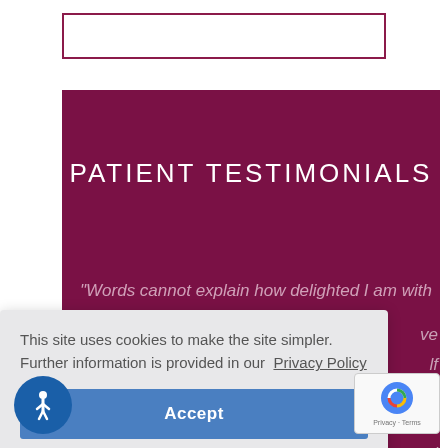[Figure (other): Top white strip with a dark maroon bordered rectangle box]
PATIENT TESTIMONIALS
“Words cannot explain how delighted I am with [partially obscured by cookie overlay]...ve...lf...s...out...ed
This site uses cookies to make the site simpler. Further information is provided in our  Privacy Policy
Accept
hard and wonderful work”
[Figure (other): Accessibility icon - circular blue button with white person/wheelchair symbol]
[Figure (other): Google reCAPTCHA badge - Privacy Terms]